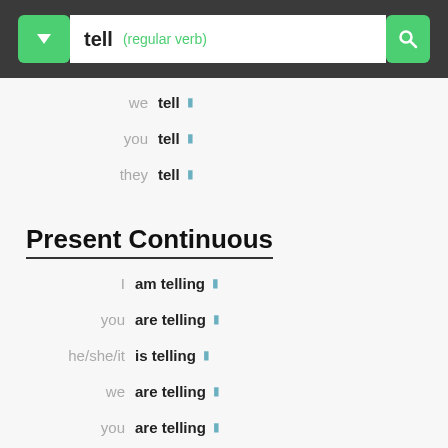[Figure (screenshot): Top navigation bar with green dropdown, search box showing 'tell (regular verb)', and green search button]
we tell
you tell
they tell
Present Continuous
I am telling
you are telling
he/she/it is telling
we are telling
you are telling
they are telling
Past simple